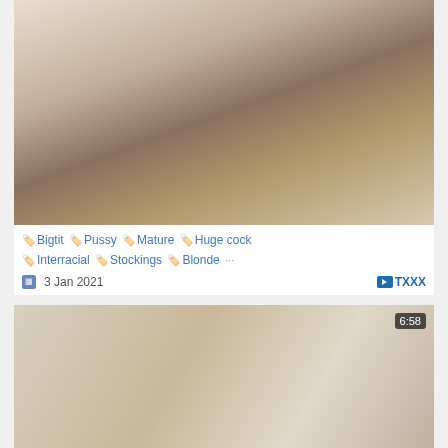[Figure (photo): Thumbnail of adult content video showing bedroom scene, top card]
🏷️ Bigtit 🏷️ Pussy 🏷️ Mature 🏷️ Huge cock 🏷️ Interracial 🏷️ Stockings 🏷️ Blonde
3 Jan 2021   ▶ TXXX
[Figure (photo): Thumbnail of adult content video showing outdoor scene, bottom card, duration 6:58]